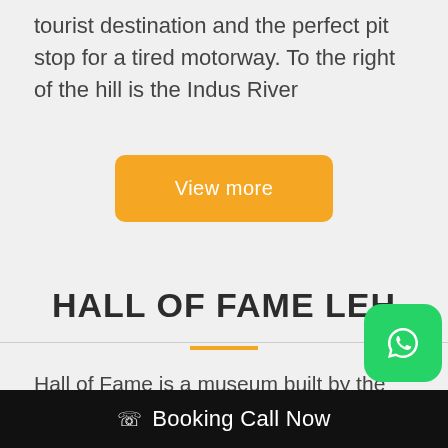tourist destination and the perfect pit stop for a tired motorway. To the right of the hill is the Indus River
[Figure (other): Orange 'View more' button with rounded corners]
HALL OF FAME LEH
Hall of Fame is a museum built by the Indian Army to commemorate the brave Indian soldiers who defended their lives defending their homeland in the Indo-Pak War. Ups there are weapons and equipment that the Indian Army
[Figure (other): WhatsApp icon green circle button overlay]
📞 Booking Call Now